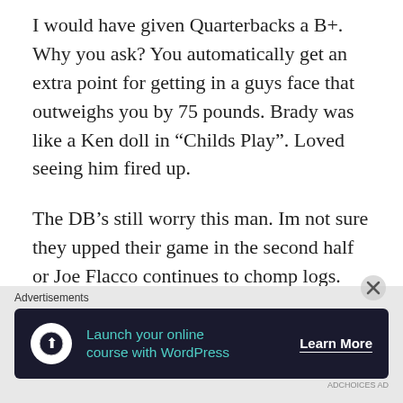I would have given Quarterbacks a B+. Why you ask? You automatically get an extra point for getting in a guys face that outweighs you by 75 pounds. Brady was like a Ken doll in "Childs Play". Loved seeing him fired up.
The DB's still worry this man. Im not sure they upped their game in the second half or Joe Flacco continues to chomp logs.
When Zoltan boomed that OT
Advertisements
[Figure (other): Advertisement banner with dark background showing 'Launch your online course with WordPress' with a Learn More button and a tree/person icon.]